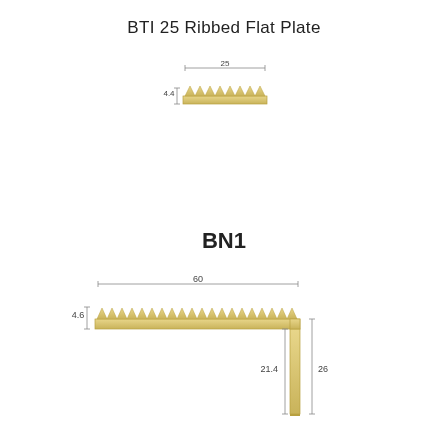BTI 25 Ribbed Flat Plate
[Figure (engineering-diagram): Cross-section diagram of BTI 25 Ribbed Flat Plate showing a flat strip with ribbed/serrated top surface. Width dimension labeled 25, height dimension labeled 4.4.]
BN1
[Figure (engineering-diagram): Cross-section diagram of BN1 stair nosing profile showing an L-shaped profile with ribbed/serrated top horizontal surface and a vertical drop. Dimensions: width 60, horizontal thickness 4.6, vertical inner depth 21.4, total vertical height 26.]